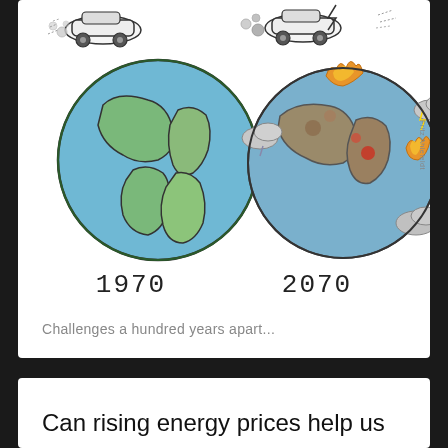[Figure (illustration): Two-panel cartoon illustration. Left panel: a car emitting exhaust fumes above a healthy green-and-blue Earth globe, labeled '1970'. Right panel: a car emitting exhaust fumes above a damaged, burning, storm-ridden Earth globe with flames, clouds, and destruction, labeled '2070'. Credit: Fritz Ahlefeldt.]
Challenges a hundred years apart...
Can rising energy prices help us